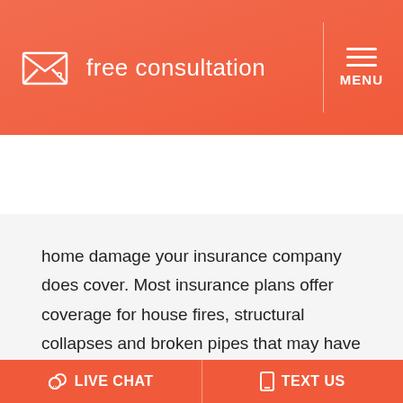free consultation | MENU
LOCAL (813) 288-4999   TOLL FREE (800) 451-6786
home damage your insurance company does cover. Most insurance plans offer coverage for house fires, structural collapses and broken pipes that may have contributed to the termite infestation, for example. If a termite colony caused electrical issues that
LIVE CHAT   TEXT US